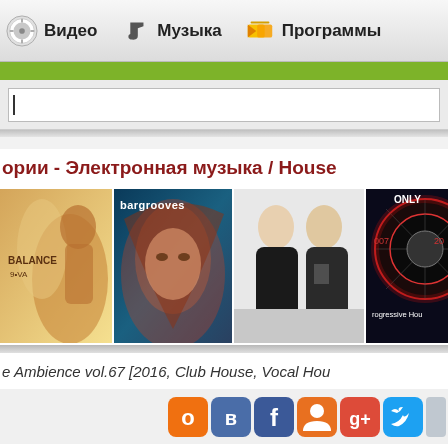Видео   Музыка   Программы
[Figure (screenshot): Search input field with cursor]
ории - Электронная музыка / House
[Figure (photo): Row of music album covers: Balance, Bargrooves, two DJs photo, Progressive House Only 007]
e Ambience vol.67 [2016, Club House, Vocal Hou
[Figure (infographic): Social media sharing icons: Odnoklassniki, VKontakte, Facebook, MyMail, Google+, Twitter, and one more]